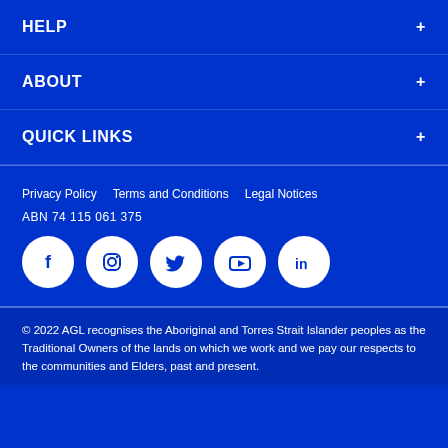HELP
ABOUT
QUICK LINKS
Privacy Policy
Terms and Conditions
Legal Notices
ABN 74 115 061 375
[Figure (infographic): Row of 5 social media icons: Facebook, Instagram, Twitter, YouTube, LinkedIn — white icons on white circular backgrounds on blue background]
© 2022 AGL recognises the Aboriginal and Torres Strait Islander peoples as the Traditional Owners of the lands on which we work and we pay our respects to the communities and Elders, past and present.